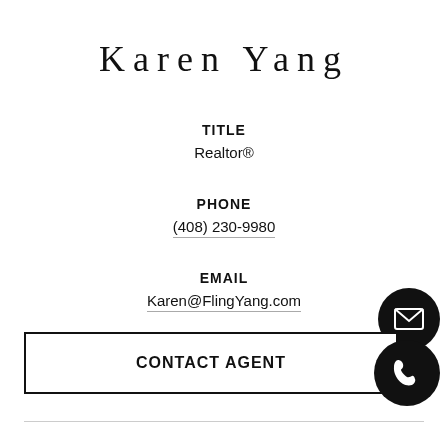Karen Yang
TITLE
Realtor®
PHONE
(408) 230-9980
EMAIL
Karen@FlingYang.com
CONTACT AGENT